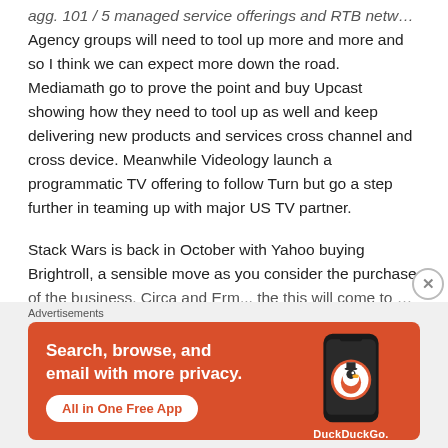agg. 101 / 5 managed service offerings and RTB networks. Agency groups will need to tool up more and more and so I think we can expect more down the road. Mediamath go to prove the point and buy Upcast showing how they need to tool up as well and keep delivering new products and services cross channel and cross device. Meanwhile Videology launch a programmatic TV offering to follow Turn but go a step further in teaming up with major US TV partner.
Stack Wars is back in October with Yahoo buying Brightroll, a sensible move as you consider the purchase
[Figure (other): DuckDuckGo advertisement banner: orange background with text 'Search, browse, and email with more privacy.' and 'All in One Free App' button, with a smartphone showing the DuckDuckGo logo]